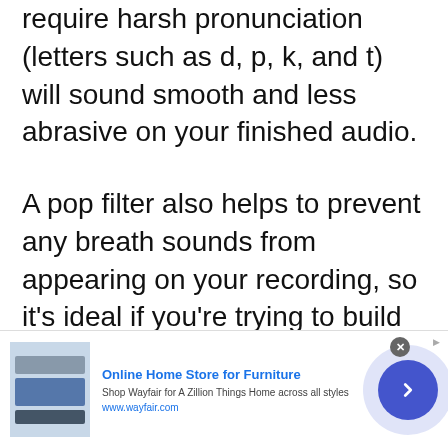require harsh pronunciation (letters such as d, p, k, and t) will sound smooth and less abrasive on your finished audio.
A pop filter also helps to prevent any breath sounds from appearing on your recording, so it's ideal if you're trying to build some suspense with moments of complete silence.
[Figure (other): Advertisement banner for Wayfair Online Home Store for Furniture with furniture image, text, and arrow button]